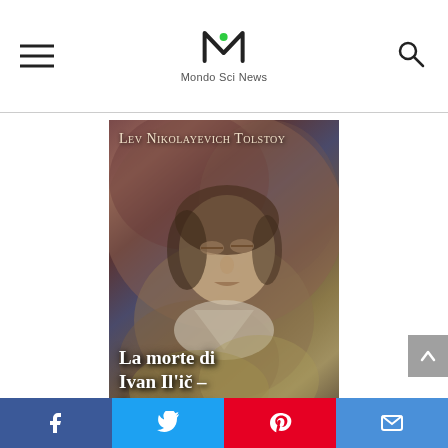Mondo Sci News
[Figure (photo): Book cover of 'La morte di Ivan Il'ič – La sonata a' by Lev Nikolayevich Tolstoy. The cover shows a classical painting of a man lying with eyes closed, dressed in period clothing, appearing to be on his deathbed. The author name appears at the top in small-caps serif font and the title at the bottom in bold white serif font.]
Facebook | Twitter | Pinterest | Email